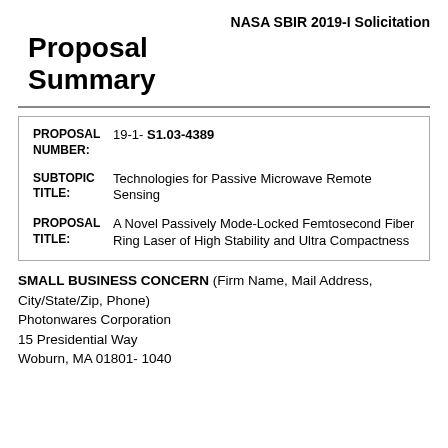NASA SBIR 2019-I Solicitation
Proposal Summary
| PROPOSAL NUMBER: | 19-1- S1.03-4389 |
| SUBTOPIC TITLE: | Technologies for Passive Microwave Remote Sensing |
| PROPOSAL TITLE: | A Novel Passively Mode-Locked Femtosecond Fiber Ring Laser of High Stability and Ultra Compactness |
SMALL BUSINESS CONCERN (Firm Name, Mail Address, City/State/Zip, Phone)
Photonwares Corporation
15 Presidential Way
Woburn, MA 01801- 1040